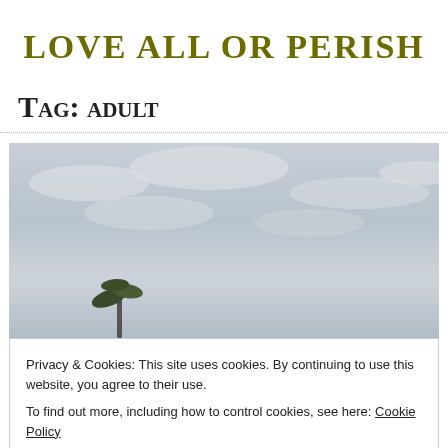Love all or perish
Tag: adult
[Figure (photo): Outdoor photo showing a cloudy grey sky with a small palm tree silhouette visible at the bottom.]
Privacy & Cookies: This site uses cookies. By continuing to use this website, you agree to their use.
To find out more, including how to control cookies, see here: Cookie Policy
Close and accept